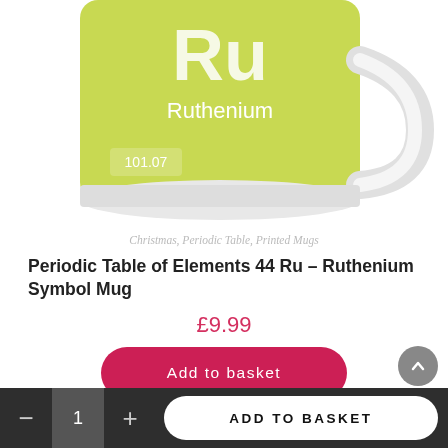[Figure (photo): Partial view of a white ceramic mug with a yellow-green periodic table element design showing 'Ru' (Ruthenium), element name 'Ruthenium', and atomic weight '101.07' on a lime green background]
Christmas, Periodic Table, Printed Mugs
Periodic Table of Elements 44 Ru – Ruthenium Symbol Mug
£9.99
Add to basket
[Figure (photo): Partial view of a white ceramic mug with dark green periodic table element design showing element number 51 and numbers 2 and 8]
ADD TO BASKET